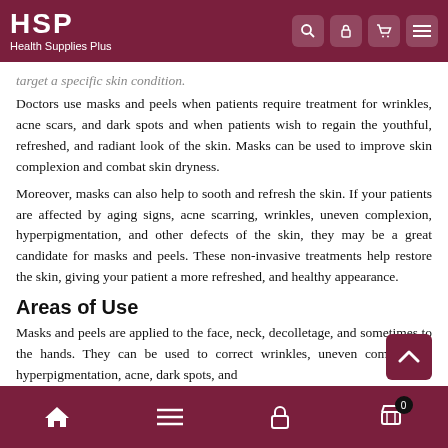HSP Health Supplies Plus
target a specific skin condition.
Doctors use masks and peels when patients require treatment for wrinkles, acne scars, and dark spots and when patients wish to regain the youthful, refreshed, and radiant look of the skin. Masks can be used to improve skin complexion and combat skin dryness.
Moreover, masks can also help to sooth and refresh the skin. If your patients are affected by aging signs, acne scarring, wrinkles, uneven complexion, hyperpigmentation, and other defects of the skin, they may be a great candidate for masks and peels. These non-invasive treatments help restore the skin, giving your patient a more refreshed, and healthy appearance.
Areas of Use
Masks and peels are applied to the face, neck, decolletage, and sometimes to the hands. They can be used to correct wrinkles, uneven complexion, hyperpigmentation, acne, dark spots, and
Home Menu Lock Cart 0